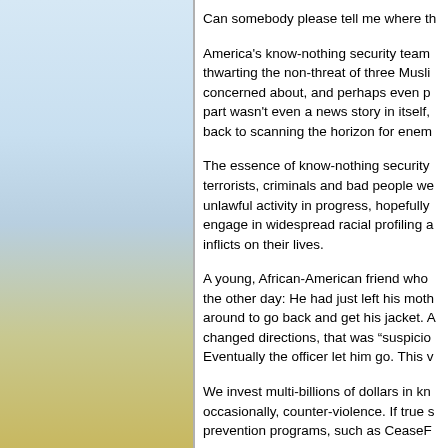[Figure (illustration): Left panel with gradient background transitioning from light blue at top to yellow/gold at bottom, with a vertical divider line on the right edge.]
Can somebody please tell me where th...
America's know-nothing security team... thwarting the non-threat of three Musli... concerned about, and perhaps even p... part wasn't even a news story in itself,... back to scanning the horizon for enem...
The essence of know-nothing security... terrorists, criminals and bad people we... unlawful activity in progress, hopefully... engage in widespread racial profiling a... inflicts on their lives.
A young, African-American friend who... the other day: He had just left his moth... around to go back and get his jacket. A... changed directions, that was “suspicio... Eventually the officer let him go. This v...
We invest multi-billions of dollars in kn... occasionally, counter-violence. If true s... prevention programs, such as CeaseF...
Instead, we create enemies and wage... U.S. military's standard operating proc... by Al Jazeera, Common Dreams repo...